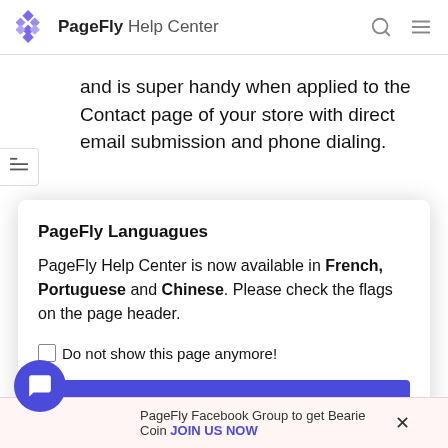PageFly Help Center
and is super handy when applied to the Contact page of your store with direct email submission and phone dialing.
PageFly Languagues
PageFly Help Center is now available in French, Portuguese and Chinese. Please check the flags on the page header.
Do not show this page anymore!
I got it!
PageFly Facebook Group to get Bearie Coin JOIN US NOW